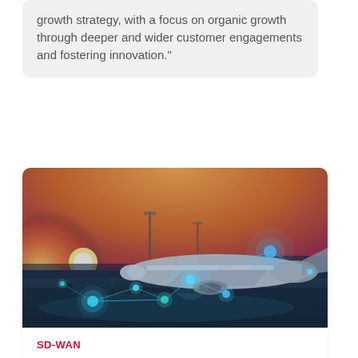growth strategy, with a focus on organic growth through deeper and wider customer engagements and fostering innovation."
[Figure (photo): Aerial view of an airplane at an airport terminal at sunset/sunrise with orange sky, overlaid with glowing blue digital network connectivity nodes and lines suggesting SD-WAN or technology connectivity.]
SD-WAN
Speedcast signs multi-year contract with Bristow Group
Speedcast has signed a multi-year contract with Bristow Group to provide technology upgrades and